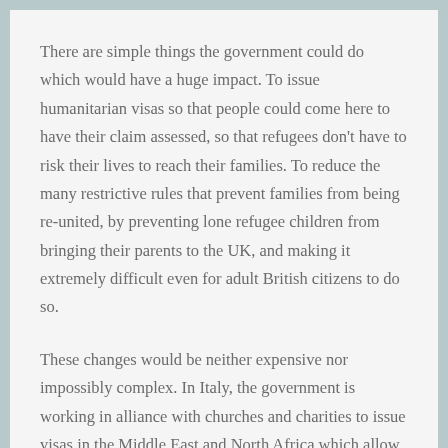There are simple things the government could do which would have a huge impact. To issue humanitarian visas so that people could come here to have their claim assessed, so that refugees don't have to risk their lives to reach their families. To reduce the many restrictive rules that prevent families from being re-united, by preventing lone refugee children from bringing their parents to the UK, and making it extremely difficult even for adult British citizens to do so.
These changes would be neither expensive nor impossibly complex. In Italy, the government is working in alliance with churches and charities to issue visas in the Middle East and North Africa which allow those seeking asylum to avoid the traffickers. On arrival, the sponsoring churches look after the new arrivals,